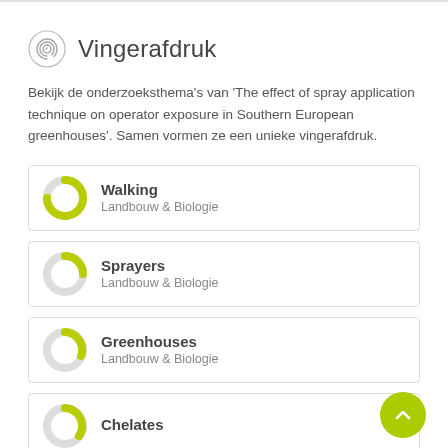Vingerafdruk
Bekijk de onderzoeksthema's van 'The effect of spray application technique on operator exposure in Southern European greenhouses'. Samen vormen ze een unieke vingerafdruk.
Walking — Landbouw & Biologie
Sprayers — Landbouw & Biologie
Greenhouses — Landbouw & Biologie
Chelates